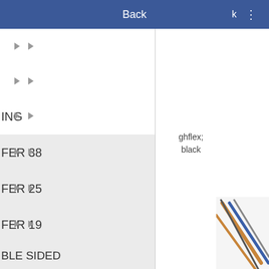Back
ING
FER 38
FER 25
FER 19
BLE SIDED
ghflex; black
[Figure (photo): Product image showing cable/wire, bottom right corner]